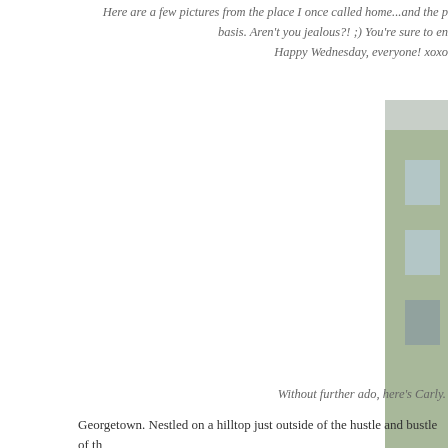Here are a few pictures from the place I once called home...and the p basis. Aren't you jealous?! ;) You're sure to en Happy Wednesday, everyone! xoxo
[Figure (photo): Row of colorful townhouses with steps and iron railings, with a large blooming pink rose bush climbing the facade of a white building on the right, and a dark green front door visible. Brick and painted facades, lush greenery.]
Without further ado, here's Carly.
Georgetown. Nestled on a hilltop just outside of the hustle and bustle of th